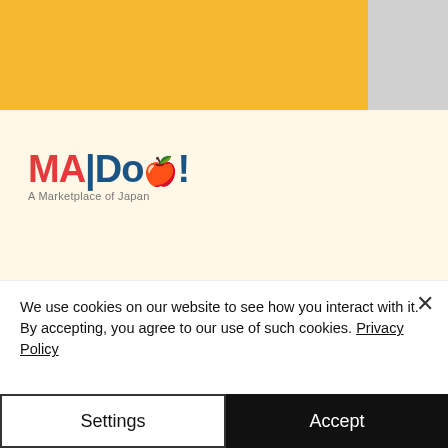[Figure (logo): MAIDo! A Marketplace of Japan logo with red and blue lettering]
ME
NU
ng
ING
Rewards Program
Online Groceries
FAQ
We use cookies on our website to see how you interact with it. By accepting, you agree to our use of such cookies. Privacy Policy
Settings
Accept